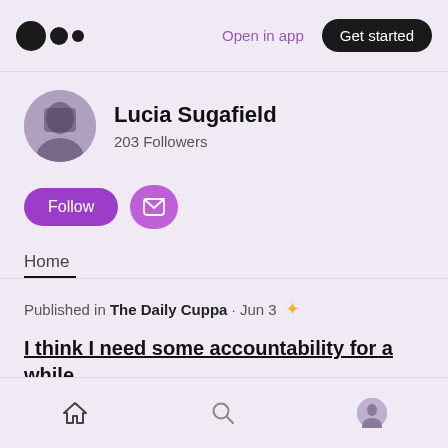Medium logo | Open in app | Get started
Lucia Sugafield
203 Followers
Follow | Subscribe
Home
Published in The Daily Cuppa · Jun 3 ✦
I think I need some accountability for a while.
Home | Search | Profile